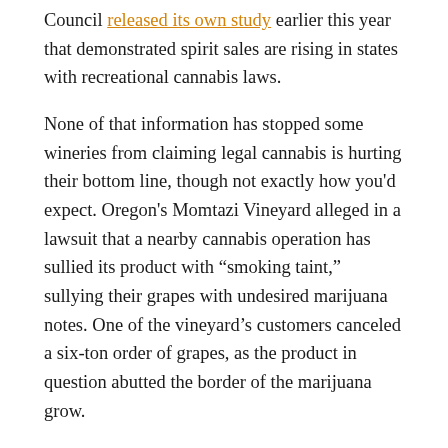Council released its own study earlier this year that demonstrated spirit sales are rising in states with recreational cannabis laws.
None of that information has stopped some wineries from claiming legal cannabis is hurting their bottom line, though not exactly how you'd expect. Oregon's Momtazi Vineyard alleged in a lawsuit that a nearby cannabis operation has sullied its product with “smoking taint,” sullying their grapes with undesired marijuana notes. One of the vineyard’s customers canceled a six-ton order of grapes, as the product in question abutted the border of the marijuana grow.